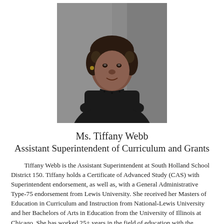[Figure (photo): Professional headshot portrait of Ms. Tiffany Webb, a woman wearing a dark top and necklace, seated in front of a gray background]
Ms. Tiffany Webb
Assistant Superintendent of Curriculum and Grants
Tiffany Webb is the Assistant Superintendent at South Holland School District 150. Tiffany holds a Certificate of Advanced Study (CAS) with Superintendent endorsement, as well as, with a General Administrative Type-75 endorsement from Lewis University. She received her Masters of Education in Curriculum and Instruction from National-Lewis University and her Bachelors of Arts in Education from the University of Illinois at Chicago. She has worked 25+ years in the field of education with the majority of those years in leadership positions.
Tiffany believes that one of the main purposes for education is